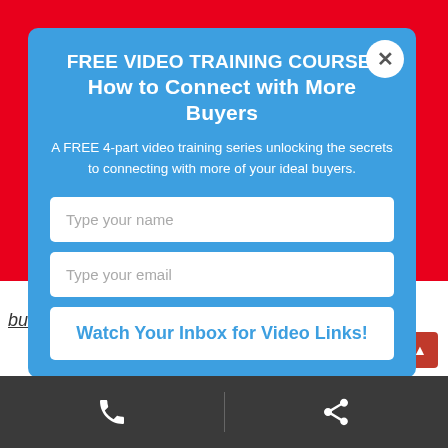FREE VIDEO TRAINING COURSE: How to Connect with More Buyers
A FREE 4-part video training series unlocking the secrets to connecting with more of your ideal buyers.
Type your name
Type your email
Watch Your Inbox for Video Links!
business – if you aren't, now is the time to start.